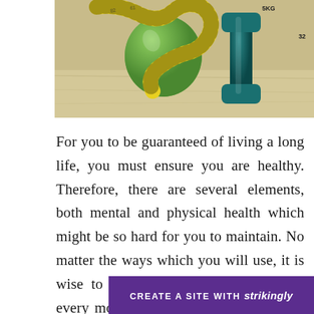[Figure (photo): Photo of green apple, yellow measuring tape, and teal/green dumbbell on a wooden surface - health and fitness theme]
For you to be guaranteed of living a long life, you must ensure you are healthy. Therefore, there are several elements, both mental and physical health which might be so hard for you to maintain. No matter the ways which you will use, it is wise to ensure you live a healthy life every moment. Note that since there are so many essential ways which you can use to in optimizing health, it might be so hectic for you to use all the ways at the same time. Therefore, your
CREATE A SITE WITH strikingly